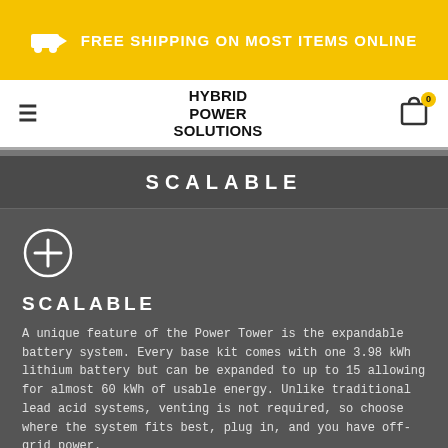FREE SHIPPING ON MOST ITEMS ONLINE
HYBRID POWER SOLUTIONS
SCALABLE
[Figure (illustration): Circular plus/expand icon in white outline on dark background]
SCALABLE
A unique feature of the Power Tower is the expandable battery system. Every base kit comes with one 3.98 kWh lithium battery but can be expanded to up to 15 allowing for almost 60 kWh of usable energy. Unlike traditional lead acid systems, venting is not required, so choose where the system fits best, plug in, and you have off-grid power.